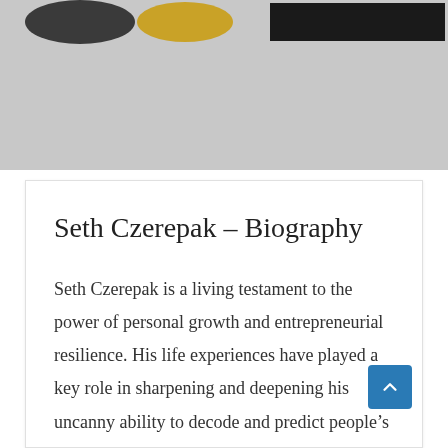[Figure (other): Header banner area with logo elements partially visible against a grey background]
Seth Czerepak – Biography
Seth Czerepak is a living testament to the power of personal growth and entrepreneurial resilience. His life experiences have played a key role in sharpening and deepening his uncanny ability to decode and predict people's words, intentions, and actions.